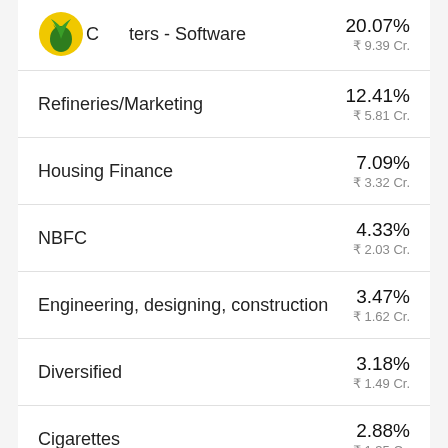Computers - Software  20.07%  ₹ 9.39 Cr.
Refineries/Marketing  12.41%  ₹ 5.81 Cr.
Housing Finance  7.09%  ₹ 3.32 Cr.
NBFC  4.33%  ₹ 2.03 Cr.
Engineering, designing, construction  3.47%  ₹ 1.62 Cr.
Diversified  3.18%  ₹ 1.49 Cr.
Cigarettes  2.88%  ₹ 1.35 Cr.
Passenger/Utility vehicles  2.71%  ₹ 1.27 Cr.
Telecom - services  2.50%